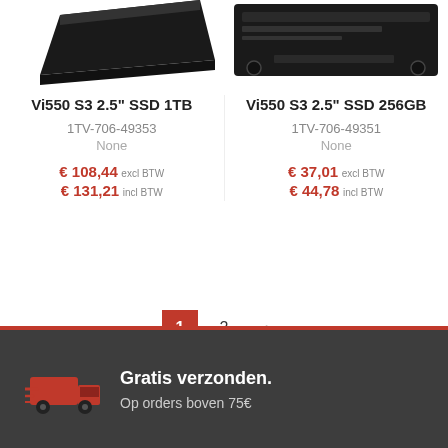[Figure (photo): Partial view of a black SSD drive (left product)]
[Figure (photo): Partial view of a black SSD drive showing back label (right product)]
Vi550 S3 2.5" SSD 1TB
1TV-706-49353
None
€ 108,44 excl BTW
€ 131,21 incl BTW
Vi550 S3 2.5" SSD 256GB
1TV-706-49351
None
€ 37,01 excl BTW
€ 44,78 incl BTW
1  2  >
Gratis verzonden.
Op orders boven 75€